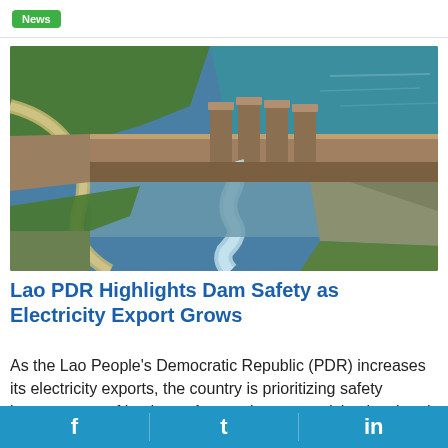News
[Figure (photo): Aerial view of a dam with water being released through a spillway, showing the dam structure, surrounding green landscape, and a reservoir.]
Lao PDR Highlights Dam Safety as Electricity Export Grows
As the Lao People's Democratic Republic (PDR) increases its electricity exports, the country is prioritizing safety improvement of its dams. A committee comprising local and
f  t  in